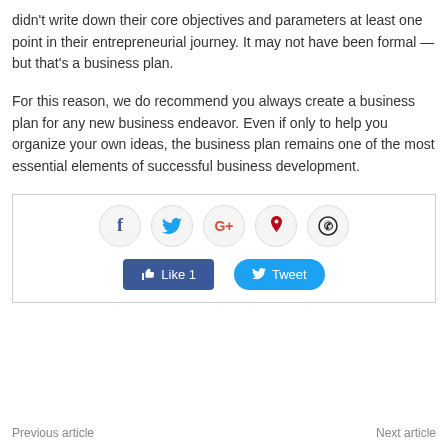didn't write down their core objectives and parameters at least one point in their entrepreneurial journey. It may not have been formal — but that's a business plan.
For this reason, we do recommend you always create a business plan for any new business endeavor. Even if only to help you organize your own ideas, the business plan remains one of the most essential elements of successful business development.
[Figure (infographic): Social sharing widget with circular icon buttons for Facebook, Twitter, Google+, Pinterest, WhatsApp, and Like/Tweet action buttons.]
Previous article    Next article